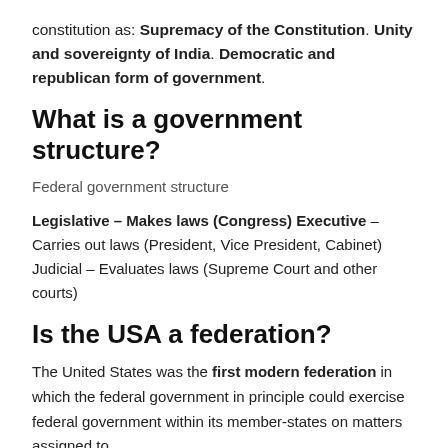constitution as: Supremacy of the Constitution. Unity and sovereignty of India. Democratic and republican form of government.
What is a government structure?
Federal government structure
Legislative – Makes laws (Congress) Executive – Carries out laws (President, Vice President, Cabinet) Judicial – Evaluates laws (Supreme Court and other courts)
Is the USA a federation?
The United States was the first modern federation in which the federal government in principle could exercise federal government within its member-states on matters assigned to